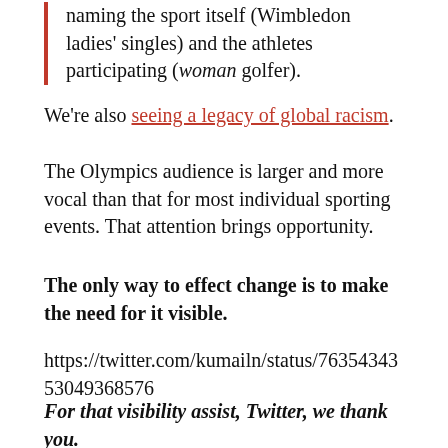naming the sport itself (Wimbledon ladies' singles) and the athletes participating (woman golfer).
We're also seeing a legacy of global racism.
The Olympics audience is larger and more vocal than that for most individual sporting events. That attention brings opportunity.
The only way to effect change is to make the need for it visible.
https://twitter.com/kumailn/status/763543435304936857 6
For that visibility assist, Twitter, we thank you.
As far as the fourth estate is concerned, it's way past time for you to get with the program. (I'd lay odds those